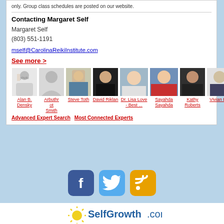only. Group class schedules are posted on our website.
Contacting Margaret Self
Margaret Self
(803) 551-1191
mself@CarolinaReikiInstitute.com
See more >
[Figure (photo): Row of expert profile photos: Alan B. Densky, Arbuthrott Smith, Steve Toth, David Riklan, Dr. Lisa Love - Best ..., Sayahda Sayahda, Kathy Roberts, Vivian Hill]
Advanced Expert Search   Most Connected Experts
[Figure (photo): Social media icons: Facebook, Twitter, RSS feed]
[Figure (logo): SelfGrowth.com logo with sun graphic]